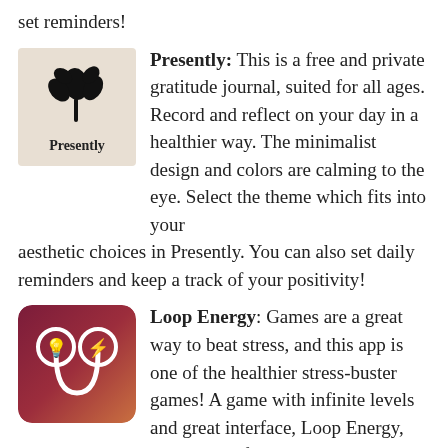set reminders!
[Figure (illustration): Presently app icon: beige/tan background with black leaf/plant silhouette and bold text 'Presently' below]
Presently: This is a free and private gratitude journal, suited for all ages. Record and reflect on your day in a healthier way. The minimalist design and colors are calming to the eye. Select the theme which fits into your aesthetic choices in Presently. You can also set daily reminders and keep a track of your positivity!
[Figure (illustration): Loop Energy app icon: dark red/purple gradient background with two white circles connected by a U-shape line, containing a light bulb icon and lightning bolt icon]
Loop Energy: Games are a great way to beat stress, and this app is one of the healthier stress-buster games! A game with infinite levels and great interface, Loop Energy, makes use of logic and analysis to connect the dots. You can go on and on playing this